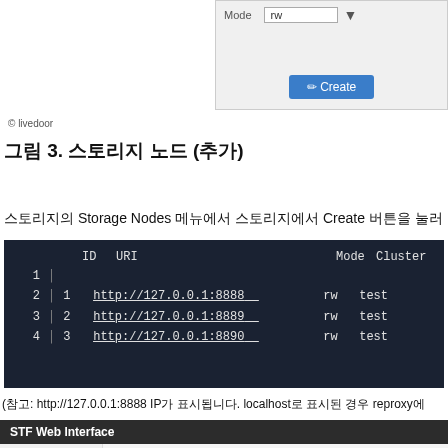[Figure (screenshot): Web form showing Mode field with 'rw' value and a blue Create button, on gray background]
© livedoor
그림 3. 스토리지 노드 (추가)
스토리지의 Storage Nodes 메뉴에서 스토리지에서 Create 버튼을 눌러 아 래의 내용을 설정하겠습니다.
[Figure (screenshot): Terminal output showing table with columns: ID, URI, Mode, Cluster. Rows: 1: http://127.0.0.1:8888 rw test, 2: http://127.0.0.1:8889 rw test, 3: http://127.0.0.1:8890 rw test]
(참고: http://127.0.0.1:8888 IP가 표시됩니다. localhost로 표시된 경우 reproxy에
[Figure (screenshot): STF Web Interface showing Storages page with sidebar menu (Storage Clusters, Storage Nodes, Buckets) and a green Create button]